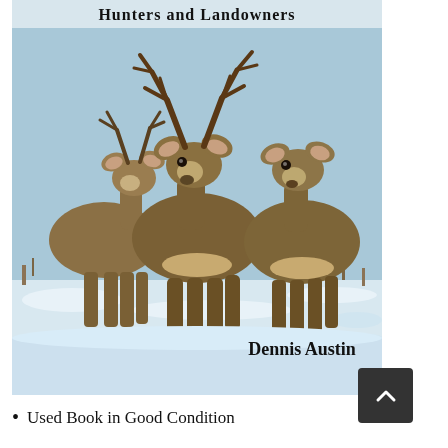[Figure (photo): Book cover showing three mule deer (two bucks with antlers and one doe) standing in a snowy field. The title text 'Hunters and Landowners' appears at the top in bold black serif font, and the author name 'Dennis Austin' appears at the bottom right in bold black serif font. Background is a wintry landscape with dry brush and snow.]
Used Book in Good Condition